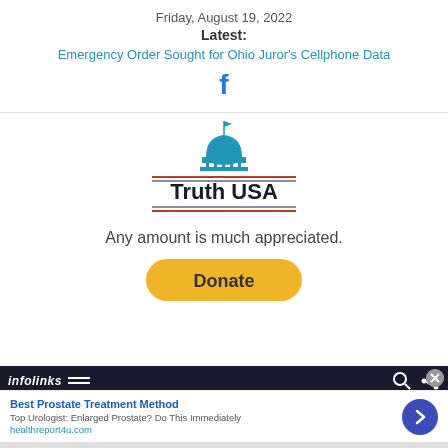Friday, August 19, 2022
Latest:
Emergency Order Sought for Ohio Juror's Cellphone Data
[Figure (logo): Facebook 'f' icon in blue]
[Figure (logo): Truth USA logo with capitol dome icon and red/dark horizontal lines above and below text]
Any amount is much appreciated.
[Figure (other): Donate button - yellow rounded rectangle with bold text 'Donate']
infolinks
Best Prostate Treatment Method
Top Urologist: Enlarged Prostate? Do This Immediately
healthreport4u.com